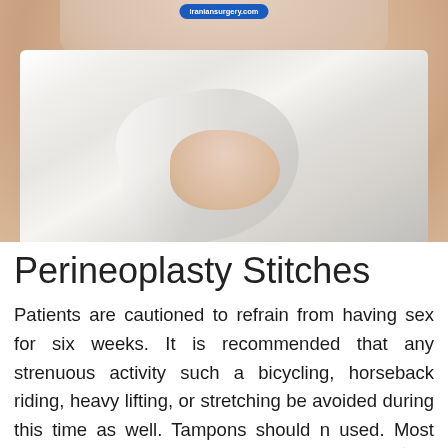[Figure (photo): Medical/cosmetic surgery website photo showing a woman's torso draped in white fabric, with a website logo badge at top reading 'iraniansurgery.com']
Perineoplasty Stitches
Patients are cautioned to refrain from having sex for six weeks. It is recommended that any strenuous activity such a bicycling, horseback riding, heavy lifting, or stretching be avoided during this time as well. Tampons should n used. Most patients should be able to return to